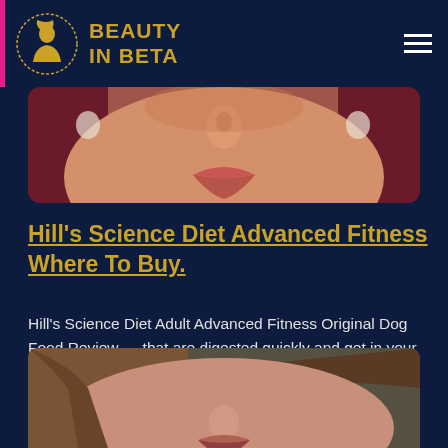BEAUTY IN BETA
[Figure (photo): Close-up photo of a woman's face showing nose and lips with red lipstick, with earrings visible]
Hill’s Science Diet Advanced Fitness Where To Buy.
Hill’s Science Diet Adult Advanced Fitness Original Dog Food Review … that are digested quickly and get in your dog’s bloodstream fast. …
[Figure (photo): Close-up photo of a woman's face showing her nose and lips area]